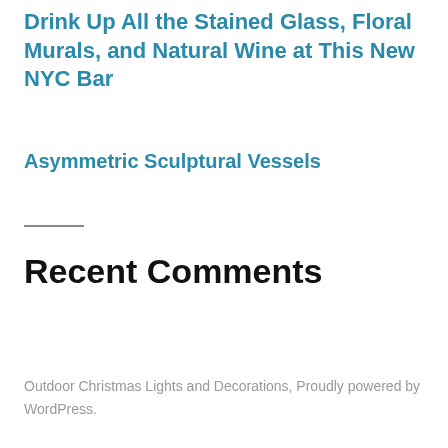Drink Up All the Stained Glass, Floral Murals, and Natural Wine at This New NYC Bar
Asymmetric Sculptural Vessels
Recent Comments
Outdoor Christmas Lights and Decorations, Proudly powered by WordPress.